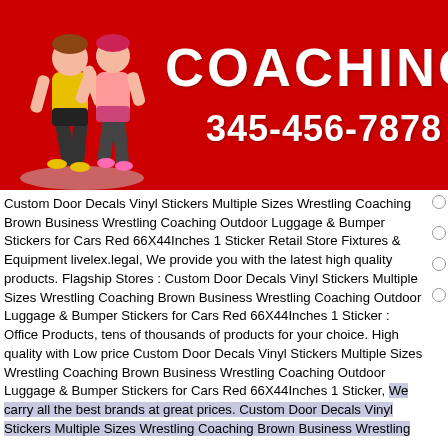[Figure (illustration): Red background banner image showing two wrestling figures (illustrated cartoon style, one in yellow/black outfit, one in pink) on the left side, and large white bold text 'COACHING' and '345-456-7878' on the right side.]
Custom Door Decals Vinyl Stickers Multiple Sizes Wrestling Coaching Brown Business Wrestling Coaching Outdoor Luggage & Bumper Stickers for Cars Red 66X44Inches 1 Sticker Retail Store Fixtures & Equipment livelex.legal, We provide you with the latest high quality products. Flagship Stores : Custom Door Decals Vinyl Stickers Multiple Sizes Wrestling Coaching Brown Business Wrestling Coaching Outdoor Luggage & Bumper Stickers for Cars Red 66X44Inches 1 Sticker : Office Products, tens of thousands of products for your choice. High quality with Low price Custom Door Decals Vinyl Stickers Multiple Sizes Wrestling Coaching Brown Business Wrestling Coaching Outdoor Luggage & Bumper Stickers for Cars Red 66X44Inches 1 Sticker, We carry all the best brands at great prices. Custom Door Decals Vinyl Stickers Multiple Sizes Wrestling Coaching Brown Business Wrestling